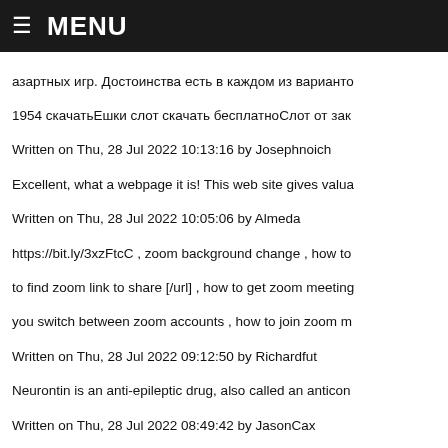≡ MENU
азартных игр. Достоинства есть в каждом из варианто
1954 скачатьЕшки слот скачать бесплатноСлот от зак
Written on Thu, 28 Jul 2022 10:13:16 by Josephnoich
Excellent, what a webpage it is! This web site gives valua
Written on Thu, 28 Jul 2022 10:05:06 by Almeda
https://bit.ly/3xzFtcC , zoom background change , how to
to find zoom link to share [/url] , how to get zoom meeting
you switch between zoom accounts , how to join zoom m
Written on Thu, 28 Jul 2022 09:12:50 by Richardfut
Neurontin is an anti-epileptic drug, also called an anticon
Written on Thu, 28 Jul 2022 08:49:42 by JasonCax
» Hello world! [url=http://www.ga2qoo2v6l02j11t1w8358h
Written on Thu, 28 Jul 2022 08:34:53 by zvdwxzdbqv
https://bit.ly/3mxVIR6 , can i hold two zoom meetings at t
https://newsfrom58sesvercakoca.blogspot.com/2022/07/z
on video in zoom meeting , how to use camera on zoom m
Written on Thu, 28 Jul 2022 07:47:30 by Richardfut
https://bit.ly/3QaImcj , how to enlarge the font on my com
normal size: [url=https://newsfrom3terpcidudzudz.blogsp
extend the laptop screen , zoom bandwidth requirements
Written on Thu, 28 Jul 2022 06:23:21 by Richardfut